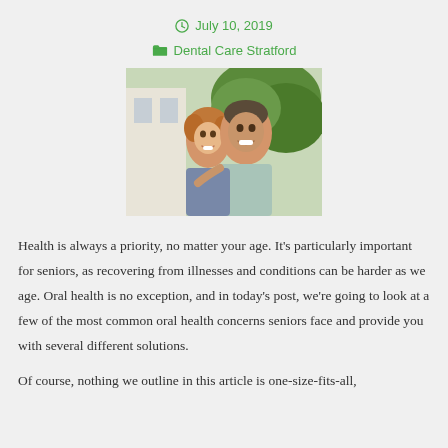July 10, 2019
Dental Care Stratford
[Figure (photo): A smiling middle-aged couple, man and woman, outdoors with greenery in background]
Health is always a priority, no matter your age. It’s particularly important for seniors, as recovering from illnesses and conditions can be harder as we age. Oral health is no exception, and in today’s post, we’re going to look at a few of the most common oral health concerns seniors face and provide you with several different solutions.
Of course, nothing we outline in this article is one-size-fits-all,